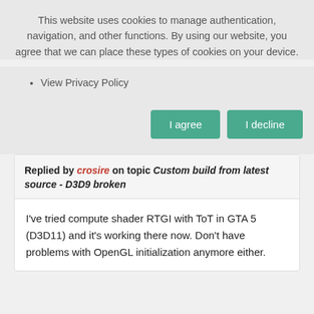This website uses cookies to manage authentication, navigation, and other functions. By using our website, you agree that we can place these types of cookies on your device.
View Privacy Policy
I agree
I decline
Replied by crosire on topic Custom build from latest source - D3D9 broken
I've tried compute shader RTGI with ToT in GTA 5 (D3D11) and it's working there now. Don't have problems with OpenGL initialization anymore either.